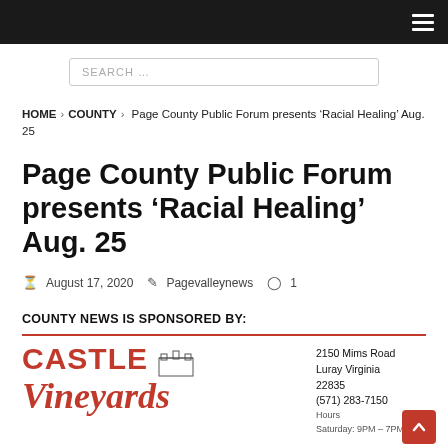Navigation header bar with hamburger menu
SEARCH ...
HOME > COUNTY > Page County Public Forum presents 'Racial Healing' Aug. 25
Page County Public Forum presents 'Racial Healing' Aug. 25
August 17, 2020  Pagevalleynews  1
COUNTY NEWS IS SPONSORED BY:
[Figure (logo): Castle Vineyards advertisement with address: 2150 Mims Road, Luray Virginia 22835, (571) 283-7150]